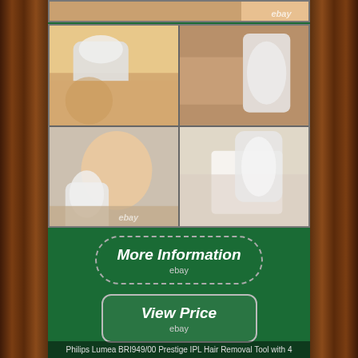[Figure (photo): eBay product listing page for Philips Lumea BRI949/00 Prestige IPL Hair Removal Tool. Shows a collage of 4 photos of women using the IPL device on legs, underarms, face, and bikini area. Below the photos are two call-to-action buttons: 'More Information ebay' and 'View Price ebay'. A caption at the bottom reads: Philips Lumea BRI949/00 Prestige IPL Hair Removal Tool with 4. Green panel background with wood-textured borders.]
More Information
ebay
View Price
ebay
Philips Lumea BRI949/00 Prestige IPL Hair Removal Tool with 4